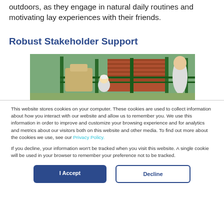outdoors, as they engage in natural daily routines and motivating lay experiences with their friends.
Robust Stakeholder Support
[Figure (photo): Outdoor playground scene with people and play equipment, brick building in background, green fencing visible.]
This website stores cookies on your computer. These cookies are used to collect information about how you interact with our website and allow us to remember you. We use this information in order to improve and customize your browsing experience and for analytics and metrics about our visitors both on this website and other media. To find out more about the cookies we use, see our Privacy Policy.
If you decline, your information won’t be tracked when you visit this website. A single cookie will be used in your browser to remember your preference not to be tracked.
I Accept
Decline